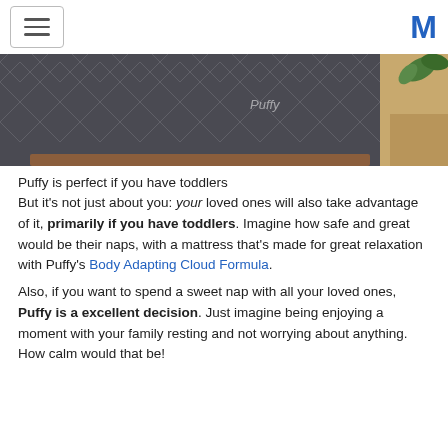[hamburger menu] [M logo]
[Figure (photo): Photo of a dark grey quilted Puffy mattress with diamond pattern, with Puffy logo visible, sitting on a wooden bed frame with a plant and blanket to the right]
Puffy is perfect if you have toddlers
But it's not just about you: your loved ones will also take advantage of it, primarily if you have toddlers. Imagine how safe and great would be their naps, with a mattress that's made for great relaxation with Puffy's Body Adapting Cloud Formula.
Also, if you want to spend a sweet nap with all your loved ones, Puffy is a excellent decision. Just imagine being enjoying a moment with your family resting and not worrying about anything. How calm would that be!